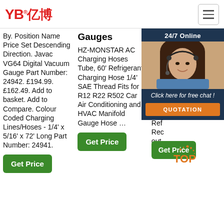[Figure (logo): YB亿博 logo in red with registered trademark symbol]
By. Position Name Price Set Descending Direction. Javac VG64 Digital Vacuum Gauge Part Number: 24942. £194.99. £162.49. Add to basket. Add to Compare. Colour Coded Charging Lines/Hoses - 1/4' x 5/16' x 72' Long Part Number: 24941.
Gauges
HZ-MONSTAR AC Charging Hoses Tube, 60' Refrigerant Charging Hose 1/4' SAE Thread Fits for R12 R22 R502 Car Air Conditioning and HVAC Manifold Gauge Hose …
Gauge Hoses
Lich R41 Gau R13 R32 Dia Gau Kit A Ref Rec out $74
[Figure (photo): Customer service representative with headset, 24/7 Online chat widget overlay]
Click here for free chat !
QUOTATION